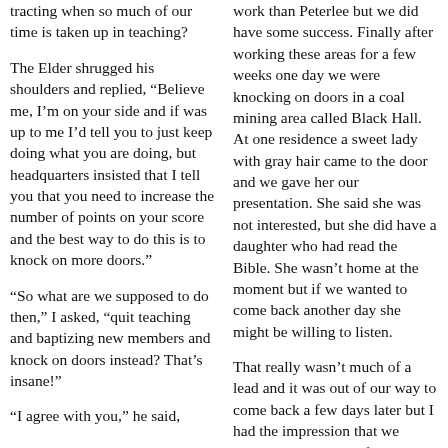tracting when so much of our time is taken up in teaching?
The Elder shrugged his shoulders and replied, “Believe me, I’m on your side and if was up to me I’d tell you to just keep doing what you are doing, but headquarters insisted that I tell you that you need to increase the number of points on your score and the best way to do this is to knock on more doors.”
“So what are we supposed to do then,” I asked, “quit teaching and baptizing new members and knock on doors instead? That’s insane!”
“I agree with you,” he said,
work than Peterlee but we did have some success. Finally after working these areas for a few weeks one day we were knocking on doors in a coal mining area called Black Hall. At one residence a sweet lady with gray hair came to the door and we gave her our presentation. She said she was not interested, but she did have a daughter who had read the Bible. She wasn’t home at the moment but if we wanted to come back another day she might be willing to listen.
That really wasn’t much of a lead and it was out of our way to come back a few days later but I had the impression that we should call on her. A few days later we knocked on her